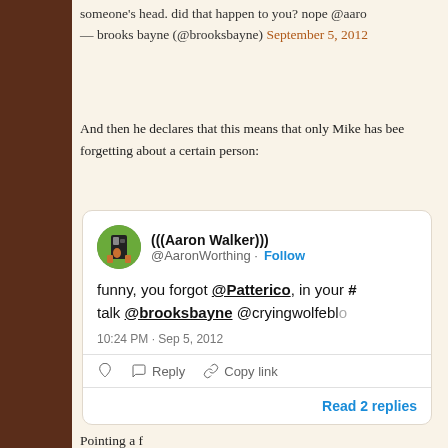someone's head. did that happen to you? nope @aaro
— brooks bayne (@brooksbayne) September 5, 2012
And then he declares that this means that only Mike has been forgetting about a certain person:
[Figure (screenshot): Embedded tweet from @AaronWorthing ((((Aaron Walker)))) saying: funny, you forgot @Patterico, in your #talk @brooksbayne @cryingwolfeblc — posted 10:24 PM · Sep 5, 2012, with like, reply, copy link actions and Read 2 replies button]
Pointing a